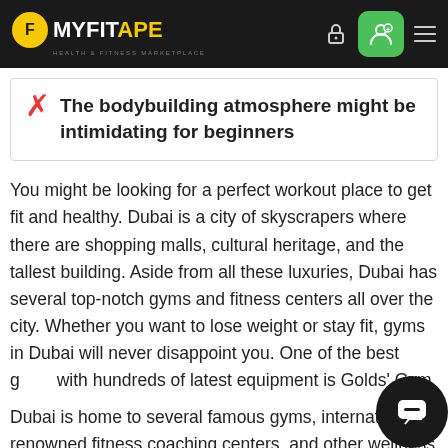MYFITAPE — Health & Fitness Marketplace
✗ The bodybuilding atmosphere might be intimidating for beginners
You might be looking for a perfect workout place to get fit and healthy. Dubai is a city of skyscrapers where there are shopping malls, cultural heritage, and the tallest building. Aside from all these luxuries, Dubai has several top-notch gyms and fitness centers all over the city. Whether you want to lose weight or stay fit, gyms in Dubai will never disappoint you. One of the best g… with hundreds of latest equipment is Golds' Gym…
Dubai is home to several famous gyms, internationally renowned fitness coaching centers, and other wellness